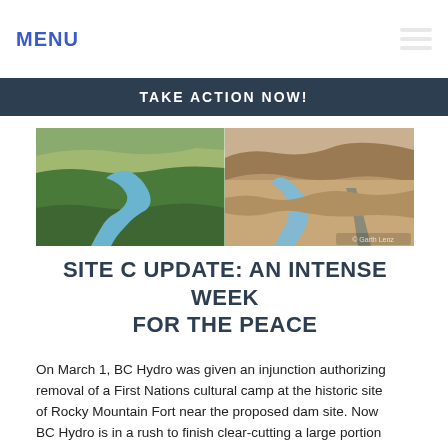MENU
TAKE ACTION NOW!
[Figure (photo): Split aerial photograph showing the Peace River valley: left side shows lush green forested valley with winding river; right side shows drier, rockier landscape with river and road visible]
SITE C UPDATE: AN INTENSE WEEK FOR THE PEACE
On March 1, BC Hydro was given an injunction authorizing removal of a First Nations cultural camp at the historic site of Rocky Mountain Fort near the proposed dam site. Now BC Hydro is in a rush to finish clear-cutting a large portion of the